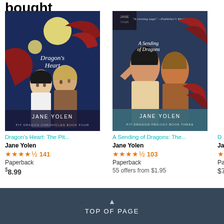bought
[Figure (illustration): Book cover: Dragon's Heart by Jane Yolen — fantasy illustration with two young figures and red dragons against a night sky with moon]
Dragon's Heart: The Pit...
Jane Yolen
★★★★½ 141
Paperback
$8.99
[Figure (illustration): Book cover: A Sending of Dragons by Jane Yolen — fantasy illustration with two figures and red dragons]
A Sending of Dragons: The...
Jane Yolen
★★★★½ 103
Paperback
55 offers from $1.95
D...
Ja...
★
Pa...
$7...
▲ TOP OF PAGE